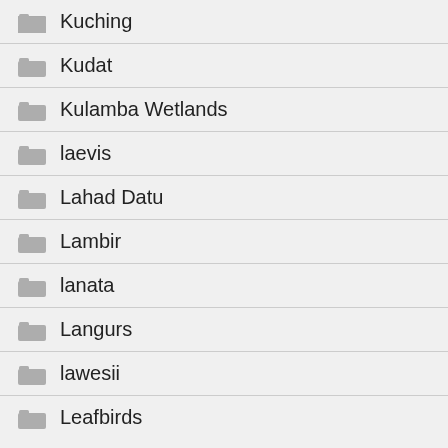Kuching
Kudat
Kulamba Wetlands
laevis
Lahad Datu
Lambir
lanata
Langurs
lawesii
Leafbirds